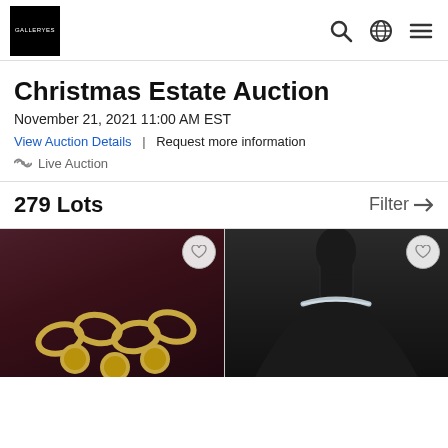[Figure (logo): Galleryes logo — white text on black square background]
Christmas Estate Auction
November 21, 2021 11:00 AM EST
View Auction Details | Request more information
Live Auction
279 Lots    Filter →
[Figure (photo): Dark brown/purple velvet background with gold chain jewelry]
[Figure (photo): Black mannequin bust displaying a silver/grey choker necklace]